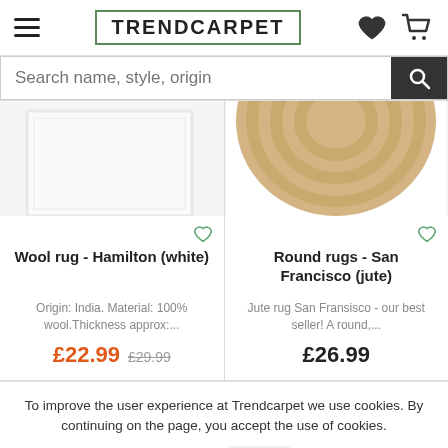TRENDCARPET
[Figure (screenshot): Search bar with placeholder text 'Search name, style, origin' and a dark search button with magnifying glass icon]
[Figure (photo): White wool rug product image (Hamilton white)]
[Figure (photo): Round jute rug product image (San Francisco jute), natural beige color, circular shape]
Wool rug - Hamilton (white)
Round rugs - San Francisco (jute)
Origin: India. Material: 100% wool.Thickness approx:...
Jute rug San Fransisco - our best seller! A round,...
£22.99  £29.99
£26.99
To improve the user experience at Trendcarpet we use cookies. By continuing on the page, you accept the use of cookies.
Info  OK.